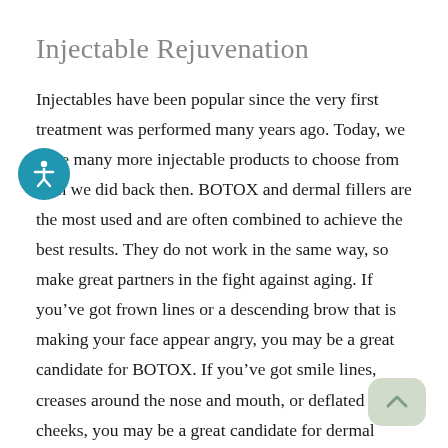Injectable Rejuvenation
Injectables have been popular since the very first treatment was performed many years ago. Today, we have many more injectable products to choose from than we did back then. BOTOX and dermal fillers are the most used and are often combined to achieve the best results. They do not work in the same way, so make great partners in the fight against aging. If you've got frown lines or a descending brow that is making your face appear angry, you may be a great candidate for BOTOX. If you've got smile lines, creases around the nose and mouth, or deflated cheeks, you may be a great candidate for dermal filler treatment.